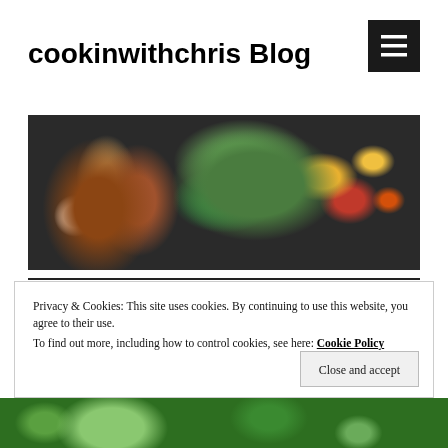cookinwithchris Blog
[Figure (photo): Food photo showing fried falafel balls with dipping sauce and garnished dishes with tomatoes and herbs on a white plate]
TAG: CHIVES
Green Goddess Sandwich
Privacy & Cookies: This site uses cookies. By continuing to use this website, you agree to their use.
To find out more, including how to control cookies, see here: Cookie Policy
[Figure (photo): Bottom strip of food photo showing green salad or leafy greens]